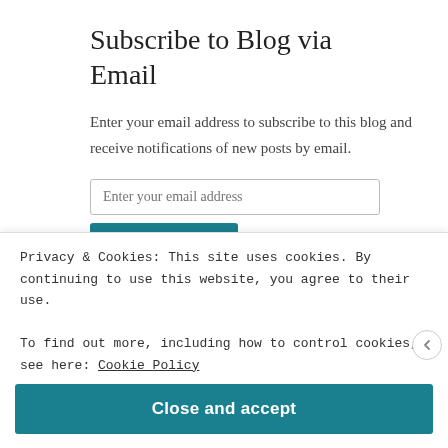Subscribe to Blog via Email
Enter your email address to subscribe to this blog and receive notifications of new posts by email.
Join 10,185 other followers
Privacy & Cookies: This site uses cookies. By continuing to use this website, you agree to their use.
To find out more, including how to control cookies, see here: Cookie Policy